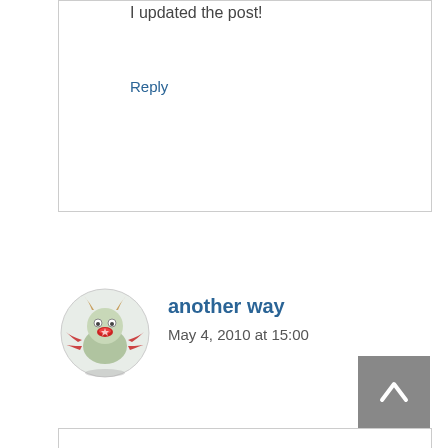I updated the post!
Reply
another way
May 4, 2010 at 15:00
Just found your page when googling for a way to keep the search-list in resolv.conf independent of the dhcp server.
For that, there is even a simpler solution, in /etc/dhcp3/dhclient.conf add: